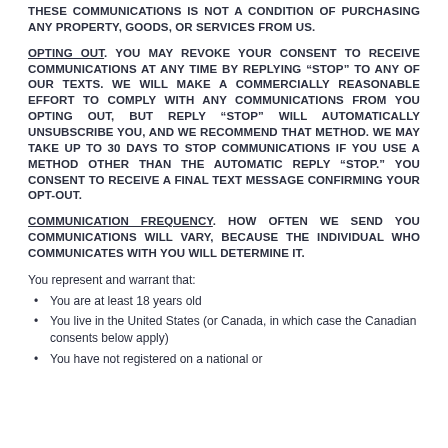THESE COMMUNICATIONS IS NOT A CONDITION OF PURCHASING ANY PROPERTY, GOODS, OR SERVICES FROM US.
OPTING OUT. YOU MAY REVOKE YOUR CONSENT TO RECEIVE COMMUNICATIONS AT ANY TIME BY REPLYING “STOP” TO ANY OF OUR TEXTS. WE WILL MAKE A COMMERCIALLY REASONABLE EFFORT TO COMPLY WITH ANY COMMUNICATIONS FROM YOU OPTING OUT, BUT REPLY “STOP” WILL AUTOMATICALLY UNSUBSCRIBE YOU, AND WE RECOMMEND THAT METHOD. WE MAY TAKE UP TO 30 DAYS TO STOP COMMUNICATIONS IF YOU USE A METHOD OTHER THAN THE AUTOMATIC REPLY “STOP.” YOU CONSENT TO RECEIVE A FINAL TEXT MESSAGE CONFIRMING YOUR OPT-OUT.
COMMUNICATION FREQUENCY. HOW OFTEN WE SEND YOU COMMUNICATIONS WILL VARY, BECAUSE THE INDIVIDUAL WHO COMMUNICATES WITH YOU WILL DETERMINE IT.
You represent and warrant that:
You are at least 18 years old
You live in the United States (or Canada, in which case the Canadian consents below apply)
You have not registered on a national or